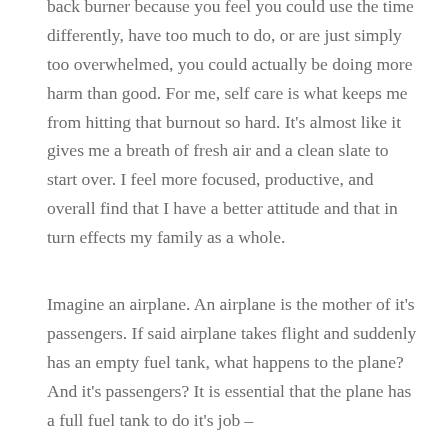back burner because you feel you could use the time differently, have too much to do, or are just simply too overwhelmed, you could actually be doing more harm than good. For me, self care is what keeps me from hitting that burnout so hard. It's almost like it gives me a breath of fresh air and a clean slate to start over. I feel more focused, productive, and overall find that I have a better attitude and that in turn effects my family as a whole.
Imagine an airplane. An airplane is the mother of it's passengers. If said airplane takes flight and suddenly has an empty fuel tank, what happens to the plane? And it's passengers? It is essential that the plane has a full fuel tank to do it's job –